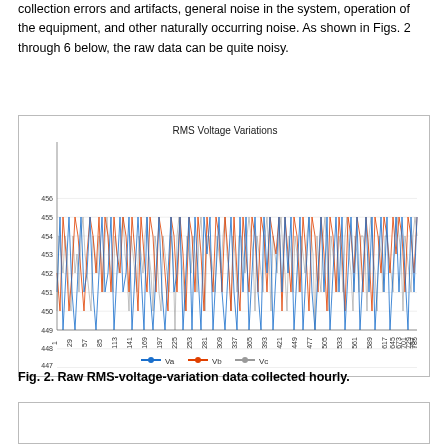collection errors and artifacts, general noise in the system, operation of the equipment, and other naturally occurring noise. As shown in Figs. 2 through 6 below, the raw data can be quite noisy.
[Figure (line-chart): Multi-series line chart showing RMS voltage variations for three phases Va (blue), Vb (orange/red), Vc (gray) over approximately 785 data points. Values range from about 446 to 456.]
Fig. 2. Raw RMS-voltage-variation data collected hourly.